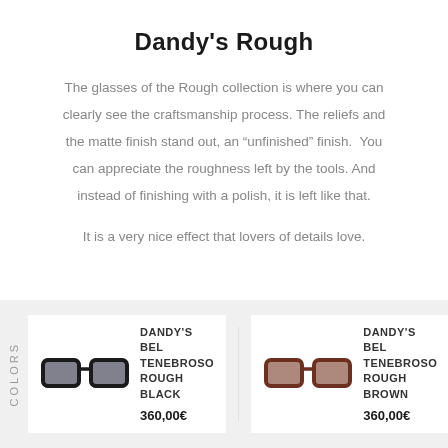Dandy's Rough
The glasses of the Rough collection is where you can clearly see the craftsmanship process. The reliefs and the matte finish stand out, an “unfinished” finish. You can appreciate the roughness left by the tools. And instead of finishing with a polish, it is left like that.

It is a very nice effect that lovers of details love.
[Figure (photo): Black rectangular eyeglasses frame - Dandy's Bel Tenebroso Rough Black]
DANDY’S BEL TENEBROSO ROUGH BLACK
360,00€
[Figure (photo): Brown rectangular eyeglasses frame - Dandy's Bel Tenebroso Rough Brown]
DANDY’S BEL TENEBROSO ROUGH BROWN
360,00€